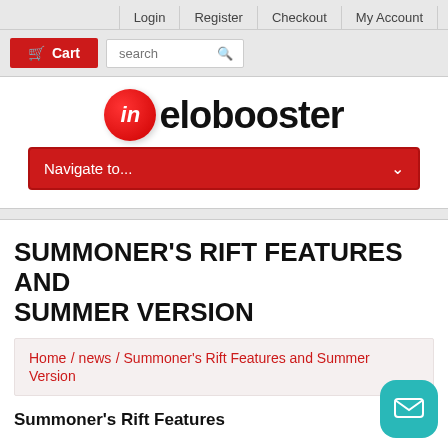Login  Register  Checkout  My Account
[Figure (screenshot): Cart button and search box in navigation bar]
[Figure (logo): inelobooster logo with red circle containing 'in' and bold black text 'elobooster']
[Figure (screenshot): Red dropdown navigation bar with text 'Navigate to...' and chevron]
SUMMONER'S RIFT FEATURES AND SUMMER VERSION
Home / news / Summoner's Rift Features and Summer Version
Summoner's Rift Features